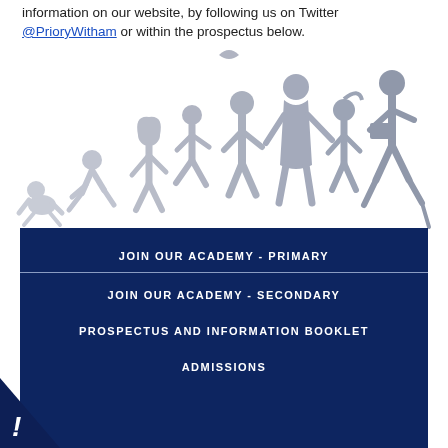information on our website, by following us on Twitter @PrioryWitham or within the prospectus below.
[Figure (illustration): Silhouette illustration showing progression of human life stages from baby crawling to child, teenager, adult, and elderly person, rendered in light grey]
JOIN OUR ACADEMY - PRIMARY
JOIN OUR ACADEMY - SECONDARY
PROSPECTUS AND INFORMATION BOOKLET
ADMISSIONS